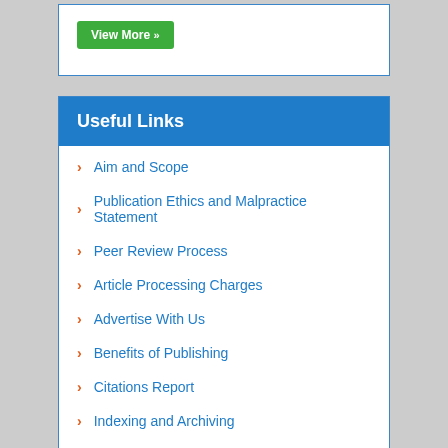View More »
Useful Links
Aim and Scope
Publication Ethics and Malpractice Statement
Peer Review Process
Article Processing Charges
Advertise With Us
Benefits of Publishing
Citations Report
Indexing and Archiving
NIH Funded Work
Most Viewed Articles
Track Your Paper
eBOOKS